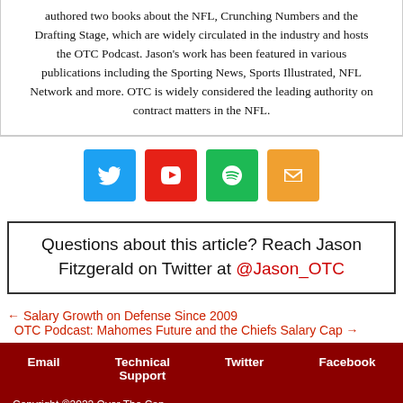authored two books about the NFL, Crunching Numbers and the Drafting Stage, which are widely circulated in the industry and hosts the OTC Podcast. Jason's work has been featured in various publications including the Sporting News, Sports Illustrated, NFL Network and more. OTC is widely considered the leading authority on contract matters in the NFL.
[Figure (infographic): Four social media icons: Twitter (blue), YouTube (red), Spotify (green), Email (orange)]
Questions about this article? Reach Jason Fitzgerald on Twitter at @Jason_OTC
← Salary Growth on Defense Since 2009
OTC Podcast: Mahomes Future and the Chiefs Salary Cap →
Email | Technical Support | Twitter | Facebook
Copyright ©2022 Over The Cap
This website is not affiliated with the NFL, NFLPA, or any individual NFL franchise. Terms and Conditions | Privacy Policy | Advertise With OTC